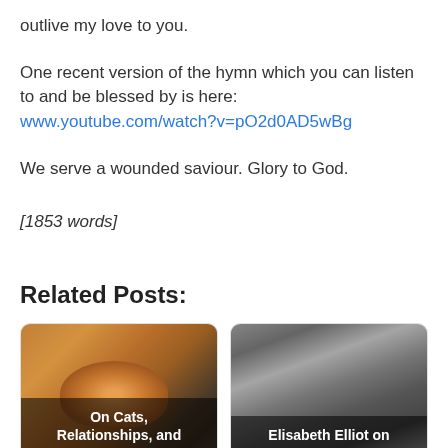outlive my love to you.
One recent version of the hymn which you can listen to and be blessed by is here:
www.youtube.com/watch?v=pO2d0AD5wBg
We serve a wounded saviour. Glory to God.
[1853 words]
Related Posts:
[Figure (photo): Photo of an orange tabby cat with overlaid text 'On Cats, Relationships, and Divine Love']
[Figure (photo): Black and white photo of Elisabeth Elliot holding a child with overlaid text 'Elisabeth Elliot on Suffering']